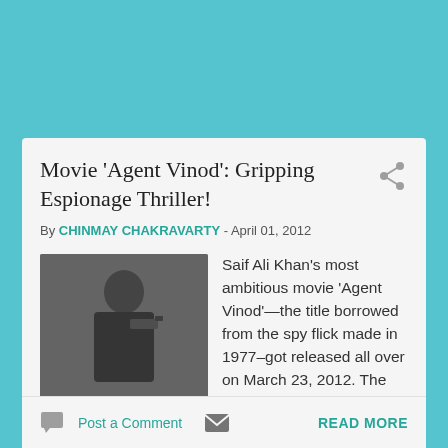Movie 'Agent Vinod': Gripping Espionage Thriller!
By CHINMAY CHAKRAVARTY - April 01, 2012
[Figure (photo): A man in dark clothing holding a gun, movie still from Agent Vinod]
Saif Ali Khan's most ambitious movie 'Agent Vinod'—the title borrowed from the spy flick made in 1977–got released all over on March 23, 2012. The movie in its second week has not yet been declared a hit and ...
Post a Comment   READ MORE